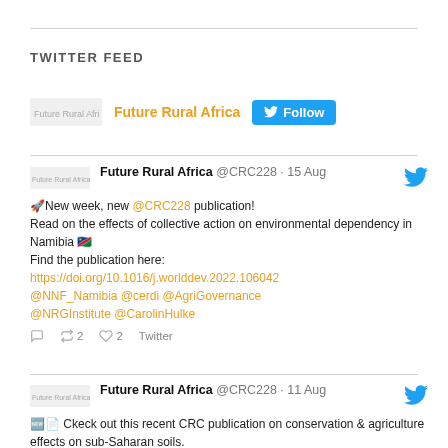TWITTER FEED
[Figure (other): Twitter Follow button widget showing Future Rural Africa account with logo and Follow button]
Future Rural Africa @CRC228 · 15 Aug
🚀New week, new @CRC228 publication!
Read on the effects of collective action on environmental dependency in Namibia 🇳🇦
Find the publication here:
https://doi.org/10.1016/j.worlddev.2022.106042
@NNF_Namibia @cerdi @AgriGovernance @NRGInstitute @CarolinHulke
Twitter · 2 retweets · 2 likes
Future Rural Africa @CRC228 · 11 Aug
🆕📄 Ckeck out this recent CRC publication on conservation & agriculture effects on sub-Saharan soils.